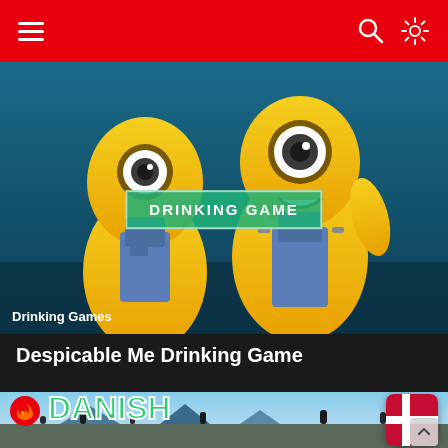Navigation bar with hamburger menu, search icon, and settings icon
[Figure (photo): Two Minion characters from Despicable Me with a green 'DRINKING GAME' badge overlaid in center, and 'Drinking Games' label at bottom left]
Despicable Me Drinking Game
[Figure (photo): Outdoor festival crowd scene with 'DANISH BEER' text in green with white stroke overlaid, a Denmark flag emoji in top right, and a fire icon badge in top left]